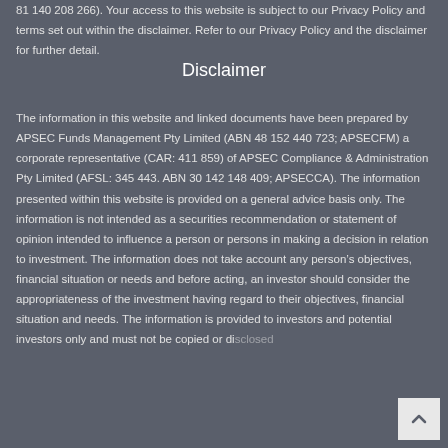81 140 208 266). Your access to this website is subject to our Privacy Policy and terms set out within the disclaimer. Refer to our Privacy Policy and the disclaimer for further detail.
Disclaimer
The information in this website and linked documents have been prepared by APSEC Funds Management Pty Limited (ABN 48 152 440 723; APSECFM) a corporate representative (CAR: 411 859) of APSEC Compliance & Administration Pty Limited (AFSL: 345 443. ABN 30 142 148 409; APSECCA). The information presented within this website is provided on a general advice basis only. The information is not intended as a securities recommendation or statement of opinion intended to influence a person or persons in making a decision in relation to investment. The information does not take account any person's objectives, financial situation or needs and before acting, an investor should consider the appropriateness of the investment having regard to their objectives, financial situation and needs. The information is provided to investors and potential investors only and must not be copied or disclosed